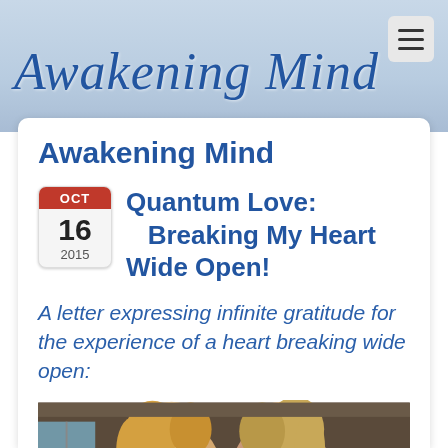Awakening Mind
Awakening Mind
Quantum Love: Breaking My Heart Wide Open!
A letter expressing infinite gratitude for the experience of a heart breaking wide open:
[Figure (photo): Photo of two women with blonde hair inside a room]